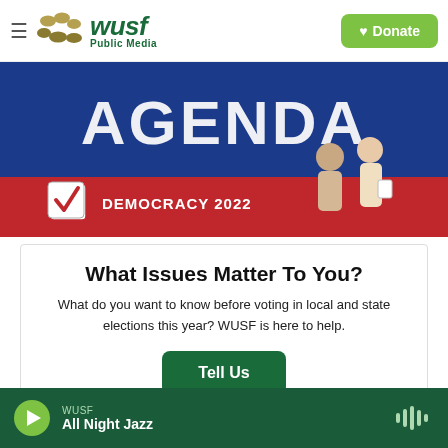WUSF Public Media — Donate
[Figure (illustration): WUSF Democracy 2022 Agenda banner — blue and red background with large white 'AGENDA' text, checkbox icon, 'DEMOCRACY 2022' label, and illustrated figures of two people talking]
What Issues Matter To You?
What do you want to know before voting in local and state elections this year? WUSF is here to help.
Tell Us
WUSF — All Night Jazz